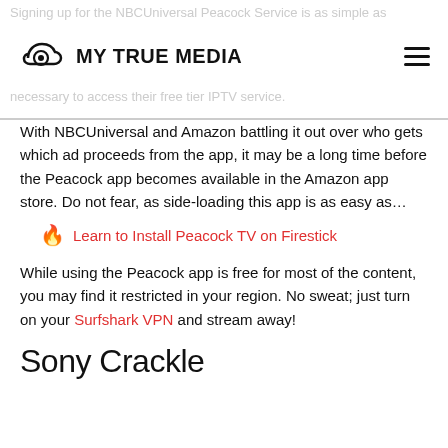Signing up for the NBCUniversal Peacock Service is as simple as entering an email and choosing a password. No credit card is necessary to access their free tier IPTV service.
With NBCUniversal and Amazon battling it out over who gets which ad proceeds from the app, it may be a long time before the Peacock app becomes available in the Amazon app store. Do not fear, as side-loading this app is as easy as…
🔥 Learn to Install Peacock TV on Firestick
While using the Peacock app is free for most of the content, you may find it restricted in your region. No sweat; just turn on your Surfshark VPN and stream away!
Sony Crackle